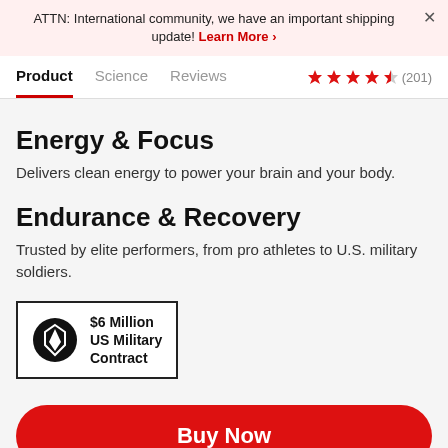ATTN: International community, we have an important shipping update! Learn More >
Product   Science   Reviews   ★★★★½ (201)
Energy & Focus
Delivers clean energy to power your brain and your body.
Endurance & Recovery
Trusted by elite performers, from pro athletes to U.S. military soldiers.
[Figure (logo): Badge with shield/arrow icon and text: $6 Million US Military Contract]
Buy Now
Tames the hunger hormone so you feel fuller, for longer.